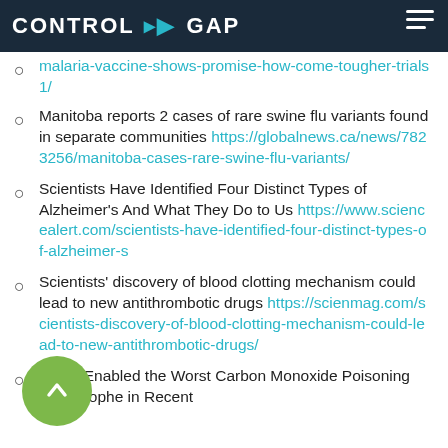CONTROL GAP
malaria-vaccine-shows-promise-how-come-tougher-trials1/ [link continues from previous page]
Manitoba reports 2 cases of rare swine flu variants found in separate communities https://globalnews.ca/news/7823256/manitoba-cases-rare-swine-flu-variants/
Scientists Have Identified Four Distinct Types of Alzheimer's And What They Do to Us https://www.sciencealert.com/scientists-have-identified-four-distinct-types-of-alzheimer-s
Scientists' discovery of blood clotting mechanism could lead to new antithrombotic drugs https://scienmag.com/scientists-discovery-of-blood-clotting-mechanism-could-lead-to-new-antithrombotic-drugs/
Texas Enabled the Worst Carbon Monoxide Poisoning Catastrophe in Recent [continues]